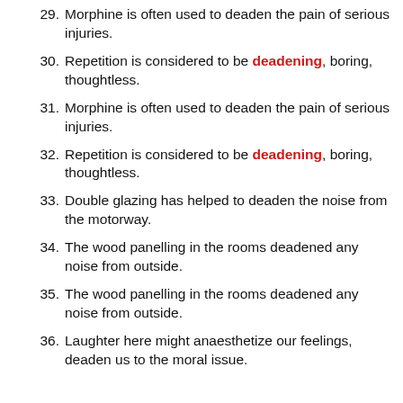29. Morphine is often used to deaden the pain of serious injuries.
30. Repetition is considered to be deadening, boring, thoughtless.
31. Morphine is often used to deaden the pain of serious injuries.
32. Repetition is considered to be deadening, boring, thoughtless.
33. Double glazing has helped to deaden the noise from the motorway.
34. The wood panelling in the rooms deadened any noise from outside.
35. The wood panelling in the rooms deadened any noise from outside.
36. Laughter here might anaesthetize our feelings, deaden us to the moral issue.